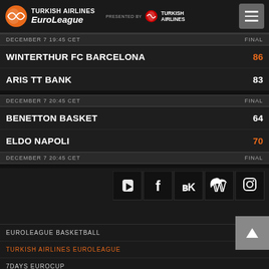TURKISH AIRLINES EuroLeague — PRESENTED BY TURKISH AIRLINES
DECEMBER 7 19:45 CET  FINAL
WINTERTHUR FC BARCELONA 86
ARIS TT BANK 83
DECEMBER 7 20:45 CET  FINAL
BENETTON BASKET 64
ELDO NAPOLI 70
DECEMBER 7 20:45 CET  FINAL
EUROLEAGUE BASKETBALL
TURKISH AIRLINES EUROLEAGUE
7DAYS EUROCUP
EUROLEAGUE BASKETBALL
ADIDAS NEXT GENERATION TOURNAMENT